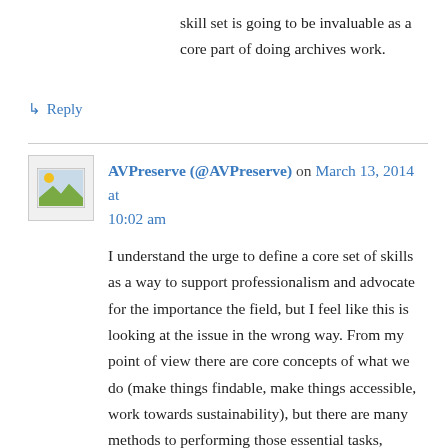skill set is going to be invaluable as a core part of doing archives work.
↳ Reply
AVPreserve (@AVPreserve) on March 13, 2014 at 10:02 am
I understand the urge to define a core set of skills as a way to support professionalism and advocate for the importance the field, but I feel like this is looking at the issue in the wrong way. From my point of view there are core concepts of what we do (make things findable, make things accessible, work towards sustainability), but there are many methods to performing those essential tasks, methods which are impacted by